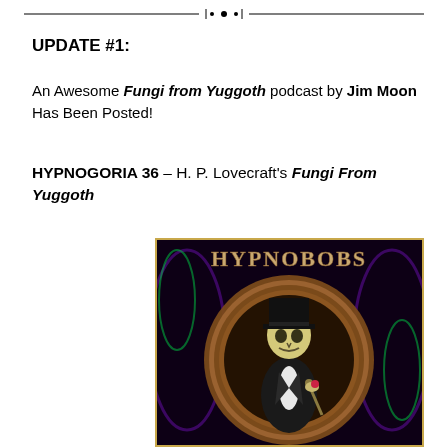[Figure (illustration): Decorative horizontal divider line with small ornamental elements in the center, black on white background]
UPDATE #1:
An Awesome Fungi from Yuggoth podcast by Jim Moon Has Been Posted!
HYPNOGORIA 36 – H. P. Lovecraft's Fungi From Yuggoth
[Figure (illustration): HYPNOBOBS podcast cover art featuring a skeleton in a top hat and tuxedo holding a cane with a rose, set against a dark purple background with glowing green and purple tentacle-like patterns, inside a wooden circular frame. Text 'HYPNOBOBS' appears at the top in stylized horror font.]